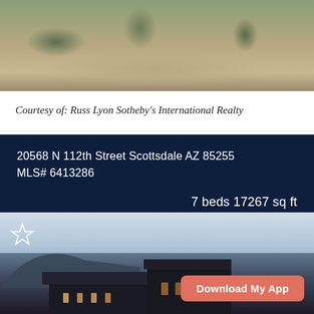[Figure (photo): Desert landscape with cacti, rocks, and scrub vegetation, partial view of property]
Courtesy of: Russ Lyon Sotheby's International Realty
20568 N 112th Street Scottsdale  AZ 85255
MLS# 6413286
7 beds  17267 sq ft
$32,000,000
See details →
[Figure (photo): Modern desert home at dusk with mid-century architecture, mountains in background, Download My App button overlay]